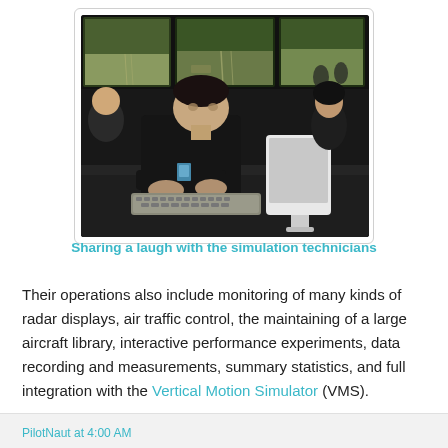[Figure (photo): People in a dark simulation room, one person in the foreground typing at a keyboard with large multi-screen displays showing an aerial/runway view in the background. Multiple people visible in a dimly lit environment.]
Sharing a laugh with the simulation technicians
Their operations also include monitoring of many kinds of radar displays, air traffic control, the maintaining of a large aircraft library, interactive performance experiments, data recording and measurements, summary statistics, and full integration with the Vertical Motion Simulator (VMS).
PilotNaut at 4:00 AM